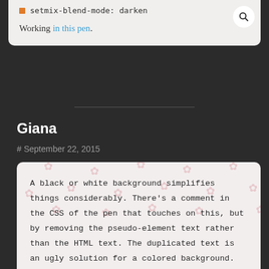setmix-blend-mode: darken
Working in this pen.
Giana
# September 22, 2015
A black or white background simplifies things considerably. There's a comment in the CSS of the pen that touches on this, but by removing the pseudo-element text rather than the HTML text. The duplicated text is an ugly solution for a colored background. Love how concise your version is.